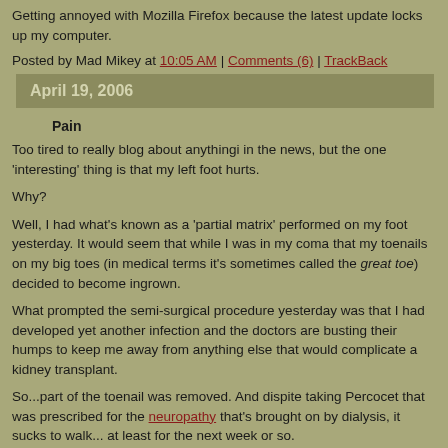Getting annoyed with Mozilla Firefox because the latest update locks up my computer.
Posted by Mad Mikey at 10:05 AM | Comments (6) | TrackBack
April 19, 2006
Pain
Too tired to really blog about anythingi in the news, but the one 'interesting' thing is that my left foot hurts.
Why?
Well, I had what's known as a 'partial matrix' performed on my foot yesterday. It would seem that while I was in my coma that my toenails on my big toes (in medical terms it's sometimes called the great toe) decided to become ingrown.
What prompted the semi-surgical procedure yesterday was that I had developed yet another infection and the doctors are busting their humps to keep me away from anything else that would complicate a kidney transplant.
So...part of the toenail was removed. And dispite taking Percocet that was prescribed for the neuropathy that's brought on by dialysis, it sucks to walk... at least for the next week or so.